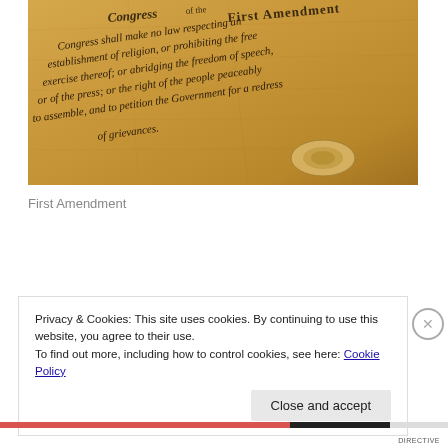[Figure (photo): Close-up photograph of an aged parchment scroll showing handwritten text of the First Amendment of the United States Constitution, beginning with 'Congress of the First Amendment' and including the text about Congress making no law respecting establishment of religion, freedom of speech, press, assembly, and petition.]
First Amendment
Privacy & Cookies: This site uses cookies. By continuing to use this website, you agree to their use.
To find out more, including how to control cookies, see here: Cookie Policy